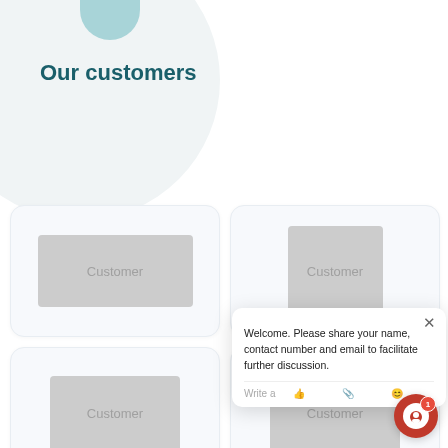Our customers
[Figure (illustration): Four customer logo placeholder cards arranged in a 2x2 grid, each showing a grey rectangle with the text 'Customer']
[Figure (screenshot): Chat popup widget saying 'Welcome. Please share your name, contact number and email to facilitate further discussion.' with a text input row and icons for thumbs up, attachment, and emoji]
[Figure (illustration): Red circular chat button with white inner circle and a badge showing '1']